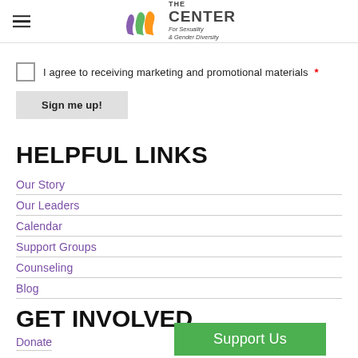The Center For Sexuality & Gender Diversity
I agree to receiving marketing and promotional materials *
Sign me up!
HELPFUL LINKS
Our Story
Our Leaders
Calendar
Support Groups
Counseling
Blog
GET INVOLVED
Donate
Support Us